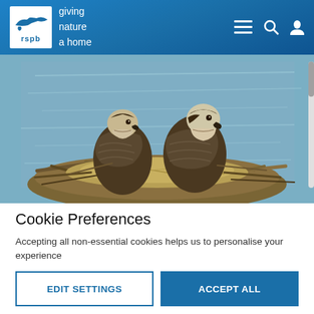RSPB — giving nature a home
[Figure (photo): Two ospreys sitting in a large stick nest by a body of water. The birds have brown and white plumage. The nest is made of sticks and grasses positioned near blue-grey water.]
Cookie Preferences
Accepting all non-essential cookies helps us to personalise your experience
EDIT SETTINGS
ACCEPT ALL